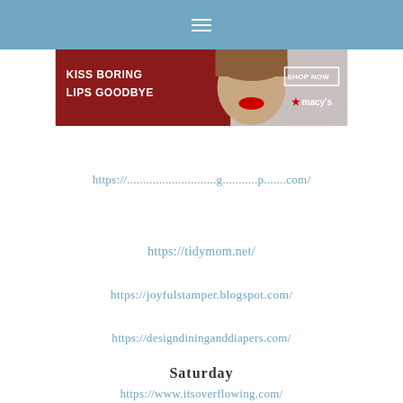≡
[Figure (photo): Macy's advertisement banner: 'KISS BORING LIPS GOODBYE' with a woman's face and red lips, SHOP NOW button and Macy's star logo]
https://[domain].com/
https://tidymom.net/
https://joyfulstamper.blogspot.com/
https://designdininganddiapers.com/
Saturday
https://www.itsoverflowing.com/
https://www.fingerprintsonthefridge.com/